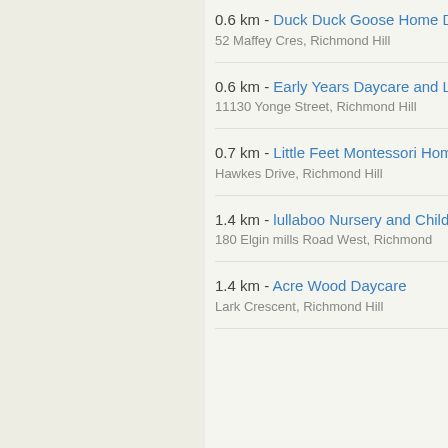0.6 km - Duck Duck Goose Home Day
52 Maffey Cres, Richmond Hill
0.6 km - Early Years Daycare and Lear
11130 Yonge Street, Richmond Hill
0.7 km - Little Feet Montessori Home D
Hawkes Drive, Richmond Hill
1.4 km - lullaboo Nursery and Childcar
180 Elgin mills Road West, Richmond
1.4 km - Acre Wood Daycare
Lark Crescent, Richmond Hill